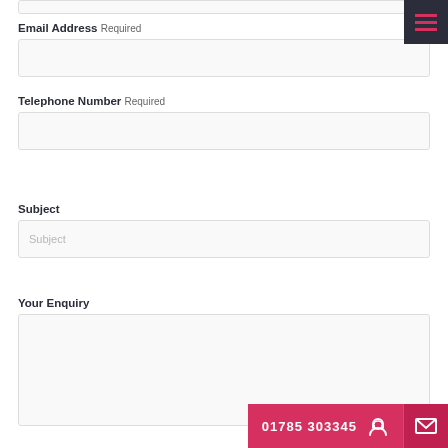Last Name (partial, cut off at top)
Email Address Required
Telephone Number Required
Subject
Your Enquiry
01785 303345